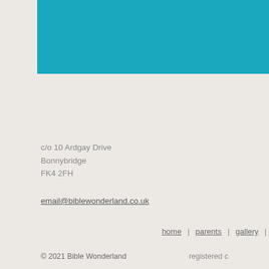[Figure (other): Teal/cyan colored header bar spanning the top right portion of the page]
c/o 10 Ardgay Drive
Bonnybridge
FK4 2FH
email@biblewonderland.co.uk
home | parents | gallery |
© 2021 Bible Wonderland    registered c